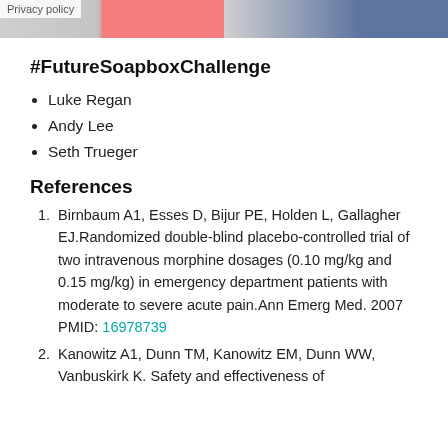[Figure (photo): Header image showing a banner with red text and blue section, with a privacy policy label overlay]
#FutureSoapboxChallenge
Luke Regan
Andy Lee
Seth Trueger
References
Birnbaum A1, Esses D, Bijur PE, Holden L, Gallagher EJ.Randomized double-blind placebo-controlled trial of two intravenous morphine dosages (0.10 mg/kg and 0.15 mg/kg) in emergency department patients with moderate to severe acute pain.Ann Emerg Med. 2007  PMID: 16978739
Kanowitz A1, Dunn TM, Kanowitz EM, Dunn WW, Vanbuskirk K. Safety and effectiveness of